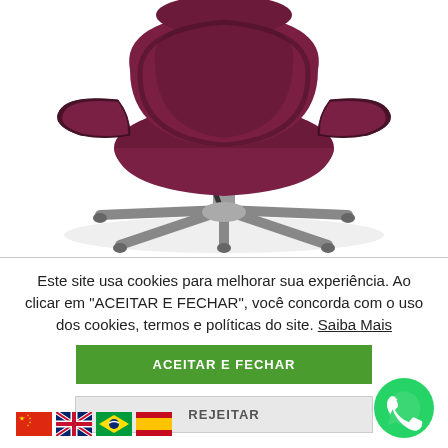[Figure (photo): Purple and dark brown office chair with armrests on a 5-star chrome base, viewed from slightly above and front, on white background.]
Este site usa cookies para melhorar sua experiência. Ao clicar em "ACEITAR E FECHAR", você concorda com o uso dos cookies, termos e políticas do site. Saiba Mais
ACEITAR E FECHAR
REJEITAR